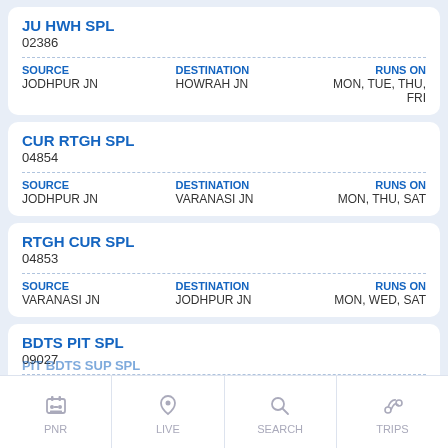JU HWH SPL
02386
| SOURCE | DESTINATION | RUNS ON |
| --- | --- | --- |
| JODHPUR JN | HOWRAH JN | MON, TUE, THU, FRI |
CUR RTGH SPL
04854
| SOURCE | DESTINATION | RUNS ON |
| --- | --- | --- |
| JODHPUR JN | VARANASI JN | MON, THU, SAT |
RTGH CUR SPL
04853
| SOURCE | DESTINATION | RUNS ON |
| --- | --- | --- |
| VARANASI JN | JODHPUR JN | MON, WED, SAT |
BDTS PIT SPL
09027
| SOURCE | DESTINATION | RUNS ON |
| --- | --- | --- |
| BANDRA TERMINUS | JAMMU TAWI | SAT |
PNR   LIVE   SEARCH   TRIPS